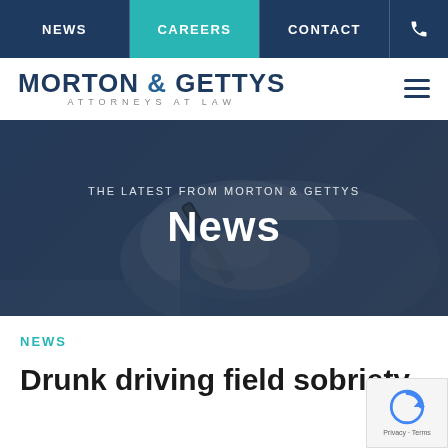NEWS | CAREERS | CONTACT | phone icon
[Figure (logo): Morton & Gettys Attorneys at Law logo with hamburger menu icon]
[Figure (photo): Hero image of a person in a suit writing with a pen, overlaid with text: THE LATEST FROM MORTON & GETTYS / News]
NEWS
Drunk driving field sobriety